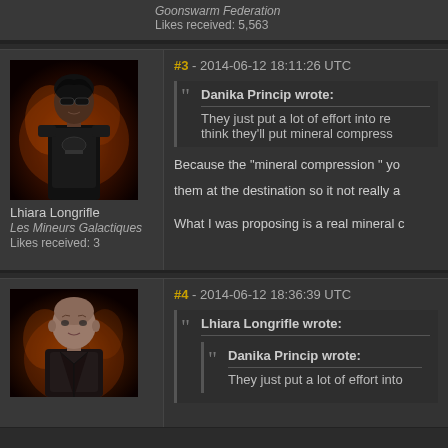Goonswarm Federation
Likes received: 5,563
[Figure (illustration): Forum avatar showing a female character in dark armor with sunglasses against a fiery background]
Lhiara Longrifle
Les Mineurs Galactiques
Likes received: 3
#3 - 2014-06-12 18:11:26 UTC
Danika Princip wrote:
They just put a lot of effort into re... think they'll put mineral compress...
Because the "mineral compression " yo... them at the destination so it not really a...
What I was proposing is a real mineral c...
[Figure (illustration): Forum avatar showing a male bald character in dark jacket against a fiery background]
#4 - 2014-06-12 18:36:39 UTC
Lhiara Longrifle wrote:
Danika Princip wrote:
They just put a lot of effort into...